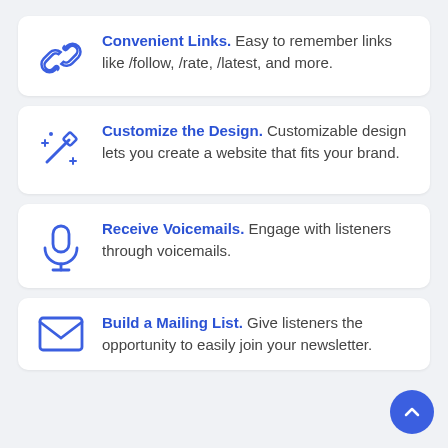Convenient Links. Easy to remember links like /follow, /rate, /latest, and more.
Customize the Design. Customizable design lets you create a website that fits your brand.
Receive Voicemails. Engage with listeners through voicemails.
Build a Mailing List. Give listeners the opportunity to easily join your newsletter.